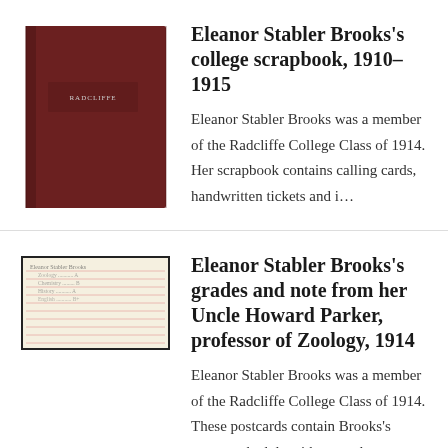[Figure (photo): Thumbnail of Eleanor Stabler Brooks's college scrapbook — dark red/maroon book cover with text on it]
Eleanor Stabler Brooks's college scrapbook, 1910–1915
Eleanor Stabler Brooks was a member of the Radcliffe College Class of 1914. Her scrapbook contains calling cards, handwritten tickets and i...
[Figure (photo): Thumbnail of a handwritten card/postcard showing grades and lined paper — cream/beige colored card with faint red lines and handwritten text]
Eleanor Stabler Brooks's grades and note from her Uncle Howard Parker, professor of Zoology, 1914
Eleanor Stabler Brooks was a member of the Radcliffe College Class of 1914. These postcards contain Brooks's course schedule with notes, her...